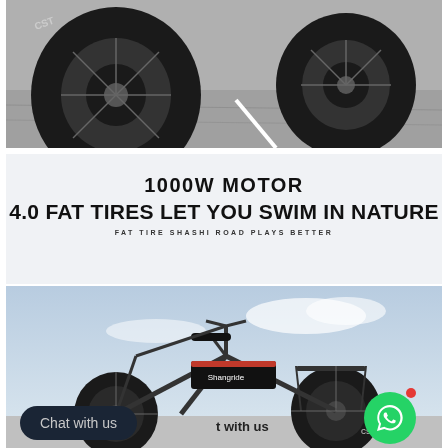[Figure (photo): Black and white close-up photo of two fat tire bicycle wheels on a road surface]
1000W MOTOR
4.0 FAT TIRES LET YOU SWIM IN NATURE
FAT TIRE SHASHI ROAD PLAYS BETTER
[Figure (photo): Electric bike (Shangride brand) with fat tires photographed against a cloudy sky background, with chat/WhatsApp UI overlay at the bottom]